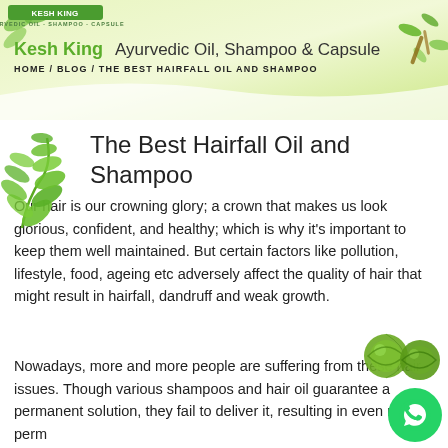[Figure (illustration): Kesh King website header banner with green gradient background, logo, site title 'Kesh King Ayurvedic Oil, Shampoo & Capsule', breadcrumb navigation, and decorative plant/herb elements]
HOME / BLOG / THE BEST HAIRFALL OIL AND SHAMPOO
The Best Hairfall Oil and Shampoo
Our hair is our crowning glory; a crown that makes us look glorious, confident, and healthy; which is why it's important to keep them well maintained. But certain factors like pollution, lifestyle, food, ageing etc adversely affect the quality of hair that might result in hairfall, dandruff and weak growth.
Nowadays, more and more people are suffering from these hair issues. Though various shampoos and hair oil guarantee a permanent solution, they fail to deliver it, resulting in even more perm